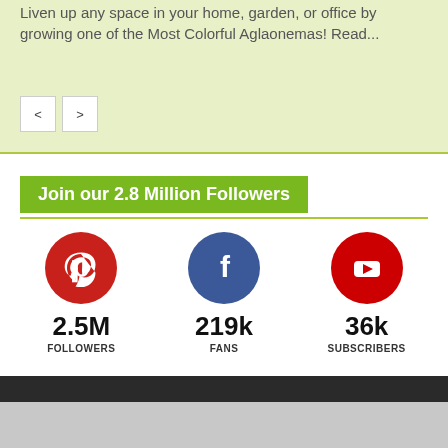Liven up any space in your home, garden, or office by growing one of the Most Colorful Aglaonemas! Read...
[Figure (other): Navigation buttons: left arrow and right arrow]
Join our 2.8 Million Followers
[Figure (infographic): Social media follower counts: Pinterest 2.5M Followers, Facebook 219k Fans, YouTube 36k Subscribers]